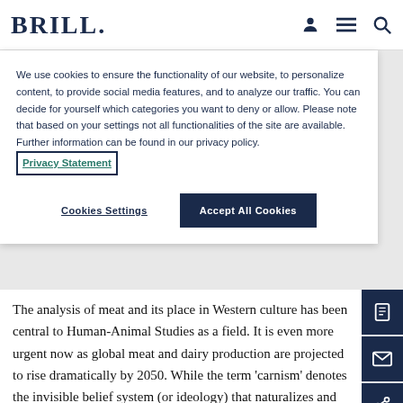BRILL.
We use cookies to ensure the functionality of our website, to personalize content, to provide social media features, and to analyze our traffic. You can decide for yourself which categories you want to deny or allow. Please note that based on your settings not all functionalities of the site are available. Further information can be found in our privacy policy. Privacy Statement
Cookies Settings | Accept All Cookies
The analysis of meat and its place in Western culture has been central to Human-Animal Studies as a field. It is even more urgent now as global meat and dairy production are projected to rise dramatically by 2050. While the term ‘carnism’ denotes the invisible belief system (or ideology) that naturalizes and normalizes meat consumption, in this volume we focus on ‘meat